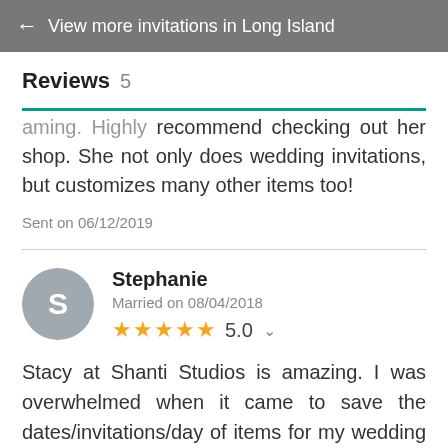← View more invitations in Long Island
Reviews 5
...aming. Highly recommend checking out her shop. She not only does wedding invitations, but customizes many other items too!
Sent on 06/12/2019
Stephanie
Married on 08/04/2018
★★★★★ 5.0
Stacy at Shanti Studios is amazing. I was overwhelmed when it came to save the dates/invitations/day of items for my wedding as I'm not a creative person. My cousin recommended Stacy and after our first conversation all my stress/concern was alleviated. She 'held my hand' through the whole process which made what I thought were...